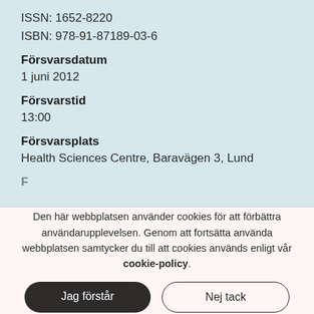ISSN: 1652-8220
ISBN: 978-91-87189-03-6
Försvarsdatum
1 juni 2012
Försvarstid
13:00
Försvarsplats
Health Sciences Centre, Baravägen 3, Lund
Den här webbplatsen använder cookies för att förbättra användarupplevelsen. Genom att fortsätta använda webbplatsen samtycker du till att cookies används enligt vår cookie-policy.
Jag förstår
Nej tack